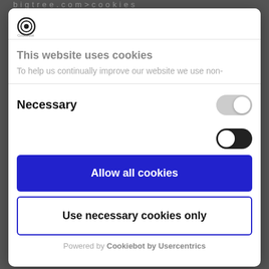[Figure (logo): Cookiebot logo - circular target-like icon with 'CookieBcon Consent' text below]
This website uses cookies
To help us continually improve our website we use non-
Necessary
Allow all cookies
Use necessary cookies only
Powered by Cookiebot by Usercentrics